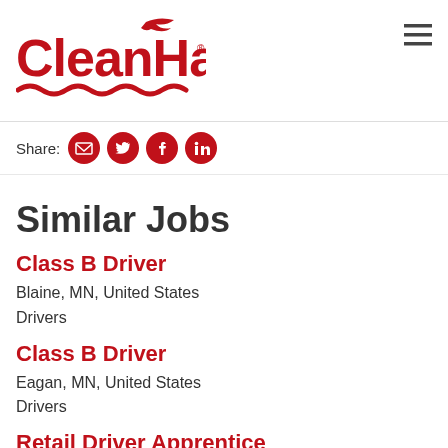[Figure (logo): Clean Harbors logo in red with wave design]
Share:
[Figure (illustration): Social share icons: email, Twitter, Facebook, LinkedIn]
Similar Jobs
Class B Driver
Blaine, MN, United States
Drivers
Class B Driver
Eagan, MN, United States
Drivers
Retail Driver Apprentice